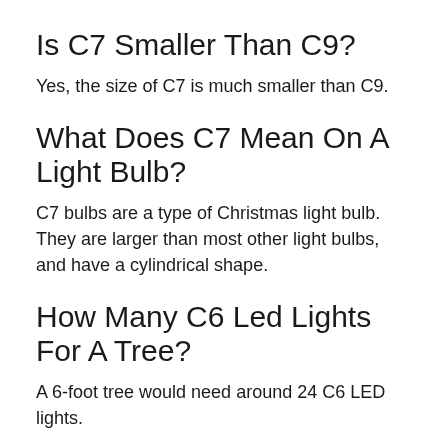Is C7 Smaller Than C9?
Yes, the size of C7 is much smaller than C9.
What Does C7 Mean On A Light Bulb?
C7 bulbs are a type of Christmas light bulb. They are larger than most other light bulbs, and have a cylindrical shape.
How Many C6 Led Lights For A Tree?
A 6-foot tree would need around 24 C6 LED lights.